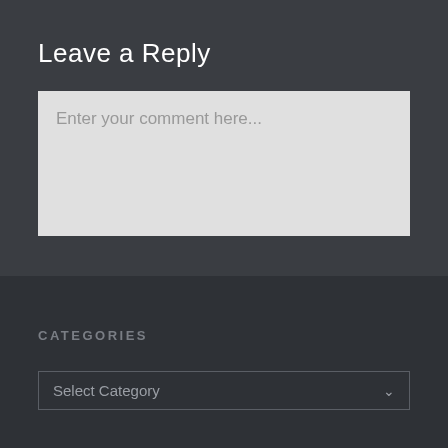Leave a Reply
Enter your comment here...
CATEGORIES
Select Category